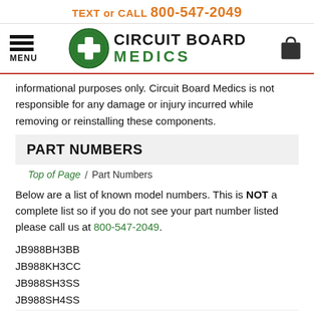TEXT or CALL 800-547-2049
[Figure (logo): Circuit Board Medics logo with green circle containing white cross, navigation menu icon on left, shopping cart icon on right]
informational purposes only. Circuit Board Medics is not responsible for any damage or injury incurred while removing or reinstalling these components.
PART NUMBERS
Top of Page / Part Numbers
Below are a list of known model numbers. This is NOT a complete list so if you do not see your part number listed please call us at 800-547-2049.
JB988BH3BB
JB988KH3CC
JB988SH3SS
JB988SH4SS